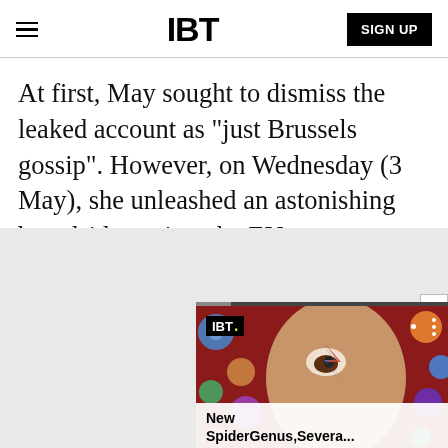IBT   SIGN UP
At first, May sought to dismiss the leaked account as "just Brussels gossip". However, on Wednesday (3 May), she unleashed an astonishing broadside against the EU.
[Figure (screenshot): IBT video overlay showing a colorful painted face (David Bowie Aladdin Sane style) with space bubbles, IBT logo, three-dot menu, and caption reading 'New SpiderGenus,Severa...']